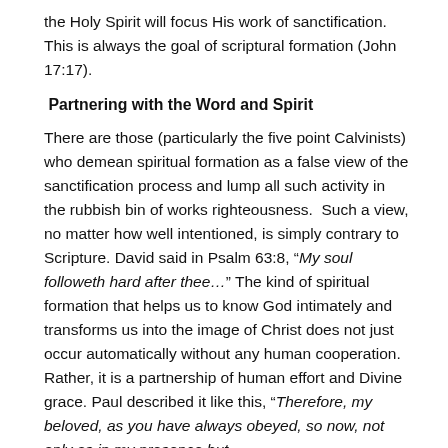the Holy Spirit will focus His work of sanctification. This is always the goal of scriptural formation (John 17:17).
Partnering with the Word and Spirit
There are those (particularly the five point Calvinists) who demean spiritual formation as a false view of the sanctification process and lump all such activity in the rubbish bin of works righteousness.  Such a view, no matter how well intentioned, is simply contrary to Scripture. David said in Psalm 63:8, “My soul followeth hard after thee…” The kind of spiritual formation that helps us to know God intimately and transforms us into the image of Christ does not just occur automatically without any human cooperation.   Rather, it is a partnership of human effort and Divine grace. Paul described it like this, “Therefore, my beloved, as you have always obeyed, so now, not only as in my presence but